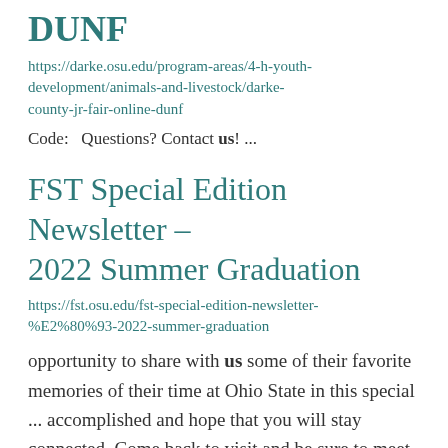DUNF
https://darke.osu.edu/program-areas/4-h-youth-development/animals-and-livestock/darke-county-jr-fair-online-dunf
Code:   Questions? Contact us! ...
FST Special Edition Newsletter – 2022 Summer Graduation
https://fst.osu.edu/fst-special-edition-newsletter-%E2%80%93-2022-summer-graduation
opportunity to share with us some of their favorite memories of their time at Ohio State in this special ... accomplished and hope that you will stay connected. Come back to visit and be sure to meet up with us as we...